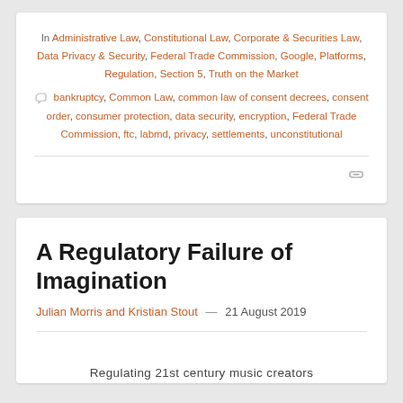In Administrative Law, Constitutional Law, Corporate & Securities Law, Data Privacy & Security, Federal Trade Commission, Google, Platforms, Regulation, Section 5, Truth on the Market
bankruptcy, Common Law, common law of consent decrees, consent order, consumer protection, data security, encryption, Federal Trade Commission, ftc, labmd, privacy, settlements, unconstitutional
A Regulatory Failure of Imagination
Julian Morris and Kristian Stout — 21 August 2019
Regulating 21st century music creators